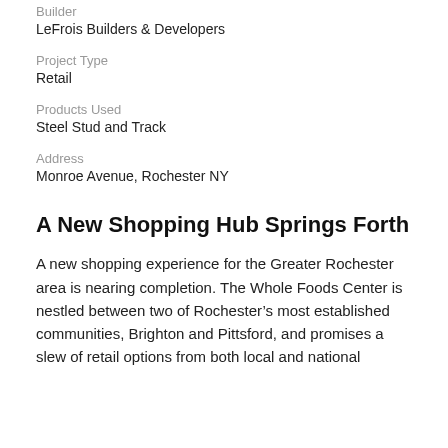Builder
LeFrois Builders & Developers
Project Type
Retail
Products Used
Steel Stud and Track
Address
Monroe Avenue, Rochester NY
A New Shopping Hub Springs Forth
A new shopping experience for the Greater Rochester area is nearing completion. The Whole Foods Center is nestled between two of Rochester's most established communities, Brighton and Pittsford, and promises a slew of retail options from both local and national